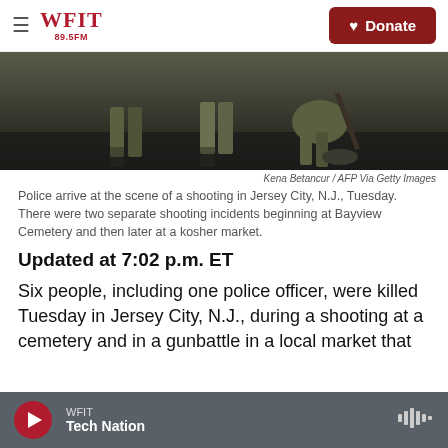WFIT 89.5FM — Donate
[Figure (photo): Police officers arriving at the scene of a shooting in Jersey City, N.J.]
Kena Betancur / AFP Via Getty Images
Police arrive at the scene of a shooting in Jersey City, N.J., Tuesday. There were two separate shooting incidents beginning at Bayview Cemetery and then later at a kosher market.
Updated at 7:02 p.m. ET
Six people, including one police officer, were killed Tuesday in Jersey City, N.J., during a shooting at a cemetery and in a gunbattle in a local market that
WFIT — Tech Nation